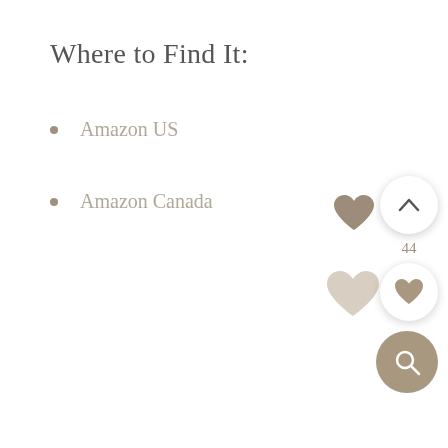Where to Find It:
Amazon US
Amazon Canada
[Figure (illustration): Light beige heart icon in upper-right area of page]
[Figure (illustration): UI cluster bottom-right: heart icon with count 44, white circle with chevron-up button, white circle with heart icon, tan circle with magnifier/search icon]